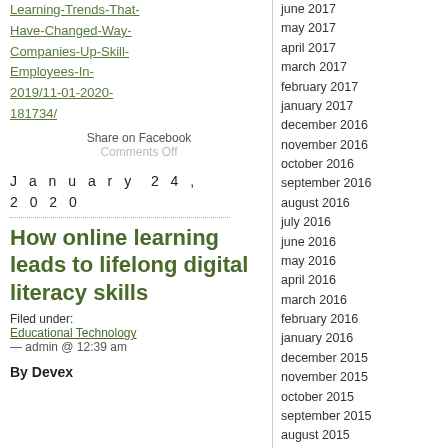Learning-Trends-That-Have-Changed-Way-Companies-Up-Skill-Employees-In-2019/11-01-2020-181734/
Share on Facebook
Comments Off
January 24, 2020
How online learning leads to lifelong digital literacy skills
Filed under: Educational Technology — admin @ 12:39 am
By Devex
june 2017
may 2017
april 2017
march 2017
february 2017
january 2017
december 2016
november 2016
october 2016
september 2016
august 2016
july 2016
june 2016
may 2016
april 2016
march 2016
february 2016
january 2016
december 2015
november 2015
october 2015
september 2015
august 2015
july 2015
june 2015
may 2015
april 2015
march 2015
february 2015
january 2015
december 2014
november 2014